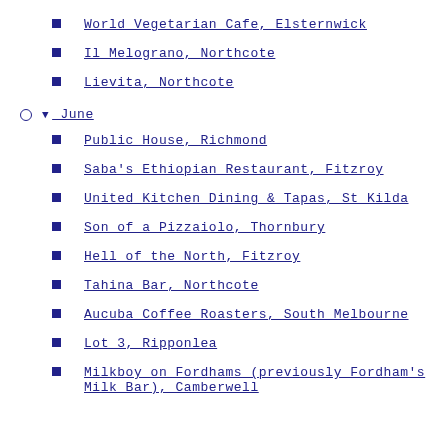World Vegetarian Cafe, Elsternwick
Il Melograno, Northcote
Lievita, Northcote
▼ June
Public House, Richmond
Saba's Ethiopian Restaurant, Fitzroy
United Kitchen Dining & Tapas, St Kilda
Son of a Pizzaiolo, Thornbury
Hell of the North, Fitzroy
Tahina Bar, Northcote
Aucuba Coffee Roasters, South Melbourne
Lot 3, Ripponlea
Milkboy on Fordhams (previously Fordham's Milk Bar), Camberwell